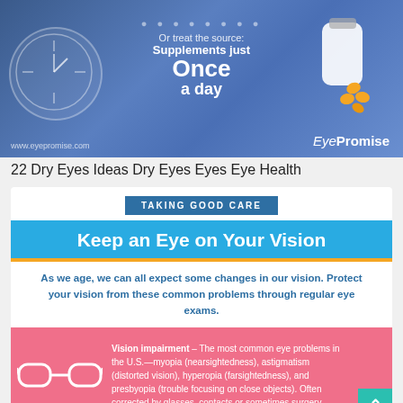[Figure (infographic): EyePromise supplement advertisement banner showing a pill bottle, clock graphic, and text 'Or treat the source: Supplements just Once a day'. URL www.eyepromise.com and EyePromise logo visible.]
22 Dry Eyes Ideas Dry Eyes Eyes Eye Health
TAKING GOOD CARE
Keep an Eye on Your Vision
As we age, we can all expect some changes in our vision. Protect your vision from these common problems through regular eye exams.
Vision impairment – The most common eye problems in the U.S.—myopia (nearsightedness), astigmatism (distorted vision), hyperopia (farsightedness), and presbyopia (trouble focusing on close objects). Often corrected by glasses, contacts or sometimes surgery.